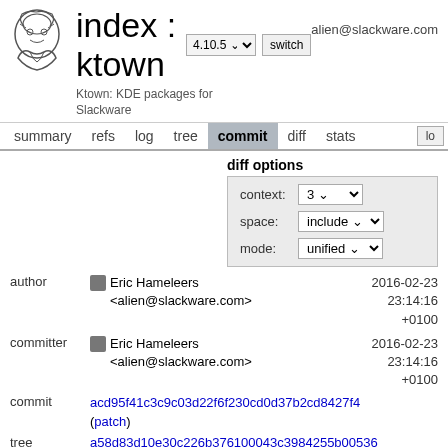index : ktown  4.10.5  switch  Ktown: KDE packages for Slackware  alien@slackware.com
summary  refs  log  tree  commit  diff  stats  lo
diff options
| field | value |
| --- | --- |
| context: | 3 |
| space: | include |
| mode: | unified |
| field | value |
| --- | --- |
| author | Eric Hameleers <alien@slackware.com>  2016-02-23 23:14:16 +0100 |
| committer | Eric Hameleers <alien@slackware.com>  2016-02-23 23:14:16 +0100 |
| commit | acd95f41c3c9c03d22f6f230cd0d37b2cd8427f4 (patch) |
| tree | a58d83d10e30c226b376100043c3984255b00536 |
| parent | ac2993928f71206937a182ac7438dd66e942582b |